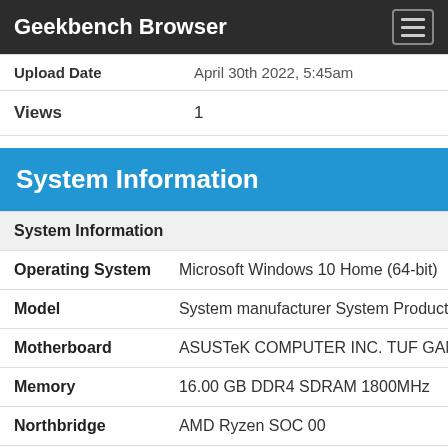Geekbench Browser
| Label | Value |
| --- | --- |
| Upload Date | April 30th 2022, 5:45am |
| Views | 1 |
System Information
System Information
| Property | Value |
| --- | --- |
| Operating System | Microsoft Windows 10 Home (64-bit) |
| Model | System manufacturer System Product Name |
| Motherboard | ASUSTeK COMPUTER INC. TUF GAMING |
| Memory | 16.00 GB DDR4 SDRAM 1800MHz |
| Northbridge | AMD Ryzen SOC 00 |
| Southbridge | AMD X570 51 |
| BIOS | American Megatrends Inc. 4005 |
Processor Information